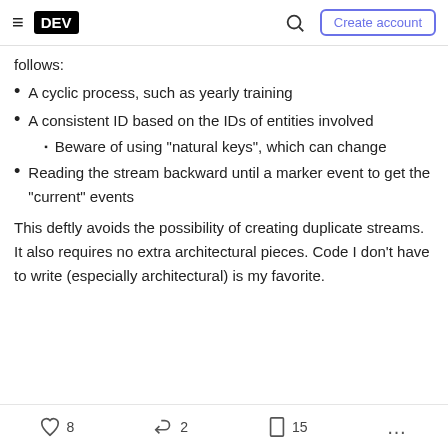DEV | Create account
follows:
A cyclic process, such as yearly training
A consistent ID based on the IDs of entities involved
Beware of using "natural keys", which can change
Reading the stream backward until a marker event to get the "current" events
This deftly avoids the possibility of creating duplicate streams. It also requires no extra architectural pieces. Code I don't have to write (especially architectural) is my favorite.
8  2  15  ...